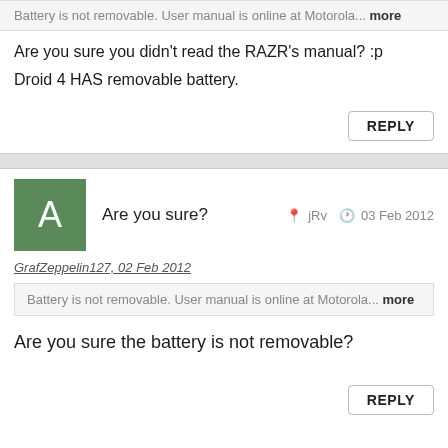Battery is not removable. User manual is online at Motorola... more
Are you sure you didn't read the RAZR's manual? :p

Droid 4 HAS removable battery.
REPLY
Are you sure?  jRv  03 Feb 2012
GrafZeppelin127, 02 Feb 2012
Battery is not removable. User manual is online at Motorola... more
Are you sure the battery is not removable?
REPLY